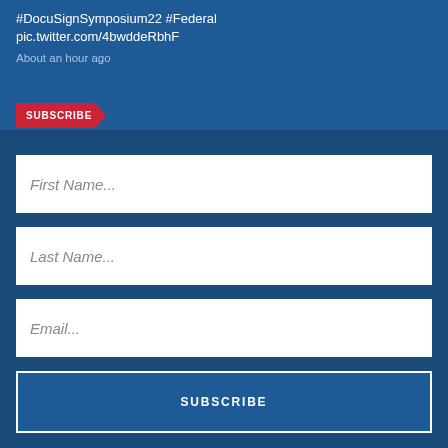#DocuSignSymposium22 #Federal
pic.twitter.com/4bwddeRbhF
About an hour ago
SUBSCRIBE
First Name...
Last Name...
Email...
SUBSCRIBE